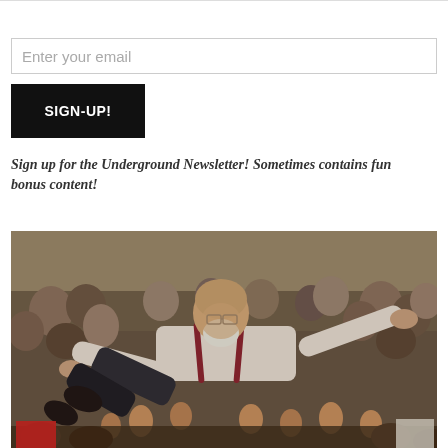Enter your email
SIGN-UP!
Sign up for the Underground Newsletter! Sometimes contains fun bonus content!
[Figure (photo): A bald older man with a white beard and glasses being crowd-surfed by a large crowd of people in what appears to be an indoor venue. He is wearing a white shirt with suspenders. His face appears to be a comedic edit placed onto another person's body.]